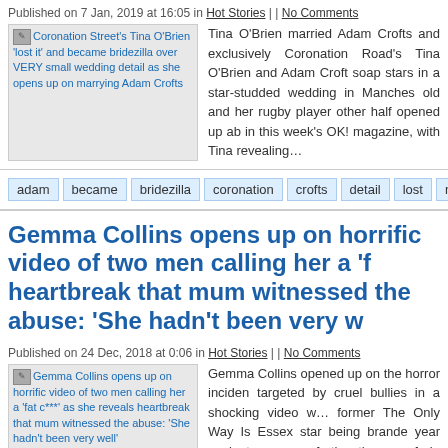Published on 7 Jan, 2019 at 16:05 in Hot Stories | | No Comments
[Figure (photo): Thumbnail image placeholder for Coronation Street's Tina O'Brien article with article title as alt text]
Tina O'Brien married Adam Crofts and exclusively Coronation Road's Tina O'Brien and Adam Crofts soap stars in a star-studded wedding in Manchester old and her rugby player other half opened up about in this week's OK! magazine, with Tina revealing…
adam
became
bridezilla
coronation
crofts
detail
lost
marrying
c
Gemma Collins opens up on horrific video of two men calling her a 'f… heartbreak that mum witnessed the abuse: 'She hadn't been very w…
Published on 24 Dec, 2018 at 0:06 in Hot Stories | | No Comments
[Figure (photo): Thumbnail image placeholder for Gemma Collins article with article title as alt text]
Gemma Collins opened up on the horror incident targeted by cruel bullies in a shocking video w… former The Only Way Is Essex star being branded… year ancient was seen further than a cafe in Brentw… past the blonde beauty as she loved a meal with…